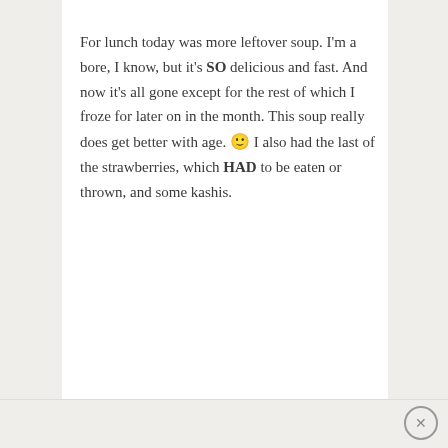For lunch today was more leftover soup. I'm a bore, I know, but it's SO delicious and fast. And now it's all gone except for the rest of which I froze for later on in the month. This soup really does get better with age. 🙂 I also had the last of the strawberries, which HAD to be eaten or thrown, and some kashis.